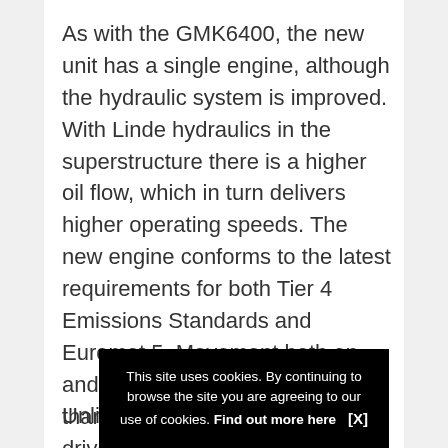As with the GMK6400, the new unit has a single engine, although the hydraulic system is improved. With Linde hydraulics in the superstructure there is a higher oil flow, which in turn delivers higher operating speeds. The new engine conforms to the latest requirements for both Tier 4 Emissions Standards and Euromot 5. Movement both on and off the road is seamless, thanks to the best-in-class driveline that includes the Megatrak suspension system and the Megadrive hydrostatic drive for on-site positioning.
Unlike th...
This site uses cookies. By continuing to browse the site you are agreeing to our use of cookies. Find out more here   [X]